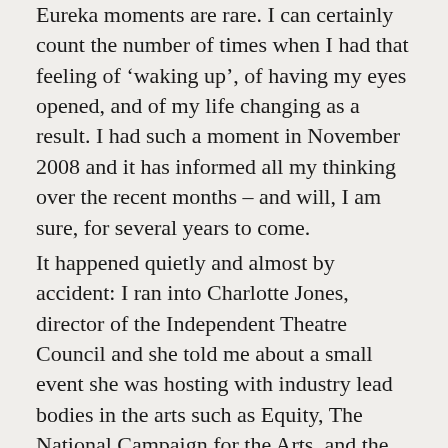Eureka moments are rare. I can certainly count the number of times when I had that feeling of 'waking up', of having my eyes opened, and of my life changing as a result. I had such a moment in November 2008 and it has informed all my thinking over the recent months – and will, I am sure, for several years to come.
It happened quietly and almost by accident: I ran into Charlotte Jones, director of the Independent Theatre Council and she told me about a small event she was hosting with industry lead bodies in the arts such as Equity, The National Campaign for the Arts, and the Musicians Union, to name just a few. She asked me if I would like to come along. And so, one ordinary Thursday afternoon I went along to hear Stewart Wallis speak. Stewart is director of an organisation